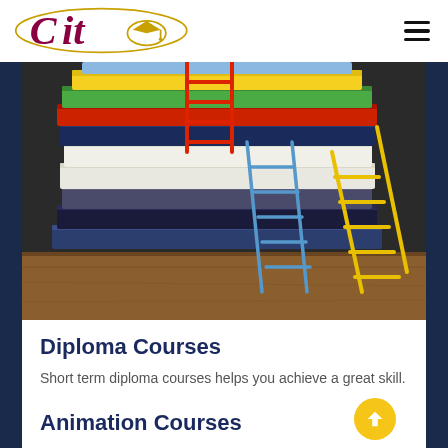CIT logo and navigation menu
[Figure (photo): Stack of colorful books with red, blue, and yellow ladders leaning against them, on a wooden surface against a dark chalkboard background.]
Diploma Courses
Short term diploma courses helps you achieve a great skill.
Animation Courses